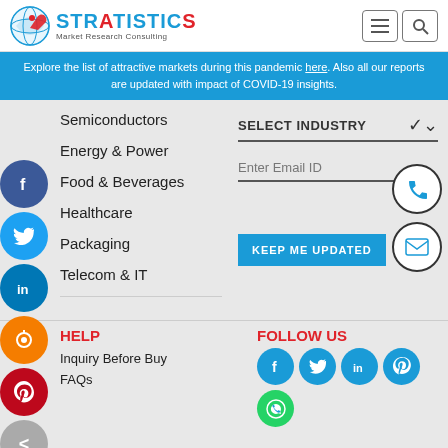[Figure (logo): Stratistics MRC logo with globe icon and 'Market Research Consulting' subtitle]
Explore the list of attractive markets during this pandemic here. Also all our reports are updated with impact of COVID-19 insights.
Semiconductors
Energy & Power
Food & Beverages
Healthcare
Packaging
Telecom & IT
SELECT INDUSTRY
Enter Email ID
KEEP ME UPDATED
HELP
FOLLOW US
Inquiry Before Buy
FAQs